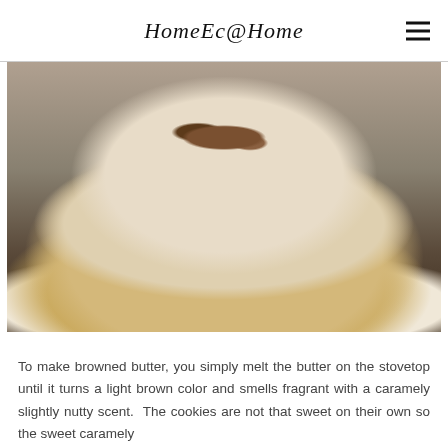HomeEc@Home
[Figure (photo): Close-up photo of a glazed scone or cookie topped with a pecan half, sitting on parchment paper on a baking sheet. The baked good has a golden exterior with a generous cream-colored frosting/glaze draping over it.]
To make browned butter, you simply melt the butter on the stovetop until it turns a light brown color and smells fragrant with a caramely slightly nutty scent. The cookies are not that sweet on their own so the sweet caramely